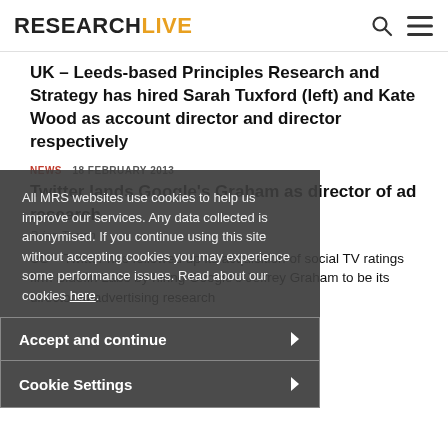RESEARCHLIVE
UK – Leeds-based Principles Research and Strategy has hired Sarah Tuxford (left) and Kate Wood as account director and director respectively
NEWS  18 FEBRUARY 2013
Twitter lands Google's Graham as director of ad research
Brian Tarran
US – Twitter has followed up its acquisition of social TV ratings firm Bluefin Labs by hiring Google's Jeffrey Graham to be its director of advertising research
All MRS websites use cookies to help us improve our services. Any data collected is anonymised. If you continue using this site without accepting cookies you may experience some performance issues. Read about our cookies here.